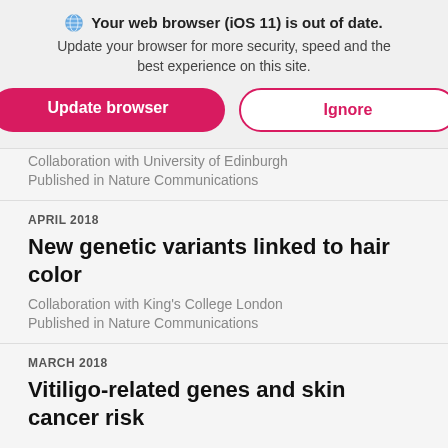[Figure (screenshot): Browser update notification banner with globe icon, text 'Your web browser (iOS 11) is out of date. Update your browser for more security, speed and the best experience on this site.' with two buttons: 'Update browser' (pink/magenta filled) and 'Ignore' (white with pink border)]
Collaboration with University of Edinburgh
Published in Nature Communications
APRIL 2018
New genetic variants linked to hair color
Collaboration with King's College London
Published in Nature Communications
MARCH 2018
Vitiligo-related genes and skin cancer risk